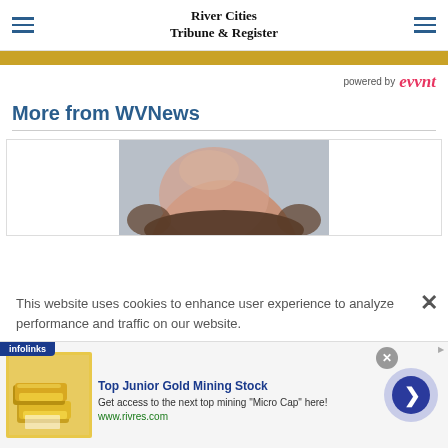River Cities Tribune & Register
[Figure (screenshot): Gold/amber horizontal bar banner]
powered by evvnt
More from WVNews
[Figure (photo): Top of a bald person's head, partial mugshot-style photo]
This website uses cookies to enhance user experience to analyze performance and traffic on our website.
[Figure (screenshot): Infolinks ad: Top Junior Gold Mining Stock — Get access to the next top mining Micro Cap here! www.rivres.com]